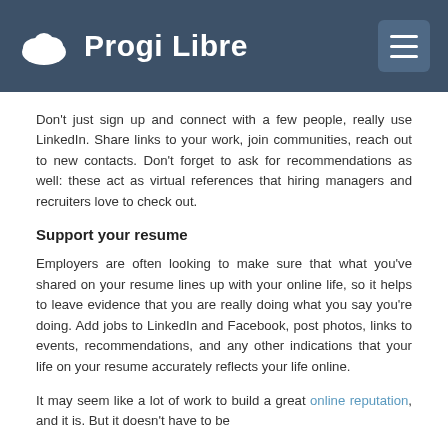Progi Libre
Don't just sign up and connect with a few people, really use LinkedIn. Share links to your work, join communities, reach out to new contacts. Don't forget to ask for recommendations as well: these act as virtual references that hiring managers and recruiters love to check out.
Support your resume
Employers are often looking to make sure that what you've shared on your resume lines up with your online life, so it helps to leave evidence that you are really doing what you say you're doing. Add jobs to LinkedIn and Facebook, post photos, links to events, recommendations, and any other indications that your life on your resume accurately reflects your life online.
It may seem like a lot of work to build a great online reputation, and it is. But it doesn't have to be